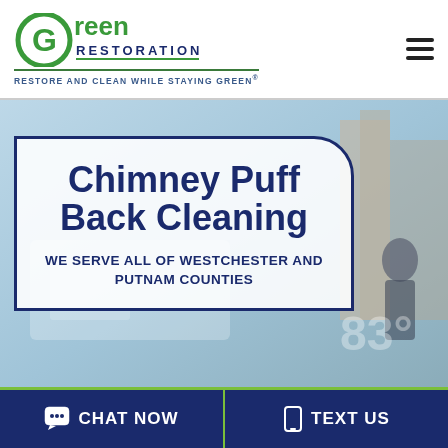[Figure (logo): Green Restoration logo with circular G icon in green]
RESTORE AND CLEAN WHILE STAYING GREEN®
[Figure (photo): Background photo of city street with vehicles and buildings]
Chimney Puff Back Cleaning
WE SERVE ALL OF WESTCHESTER AND PUTNAM COUNTIES
CHAT NOW
TEXT US